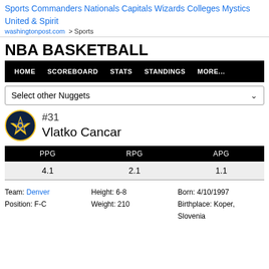Sports Commanders Nationals Capitals Wizards Colleges Mystics United & Spirit
washingtonpost.com > Sports
NBA BASKETBALL
HOME  SCOREBOARD  STATS  STANDINGS  MORE...
Select other Nuggets
#31
Vlatko Cancar
| PPG | RPG | APG |
| --- | --- | --- |
| 4.1 | 2.1 | 1.1 |
Team: Denver
Position: F-C
Height: 6-8
Weight: 210
Born: 4/10/1997
Birthplace: Koper, Slovenia